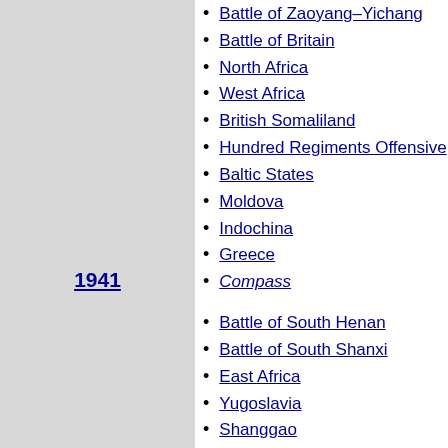Battle of Zaoyang–Yichang
Battle of Britain
North Africa
West Africa
British Somaliland
Hundred Regiments Offensive
Baltic States
Moldova
Indochina
Greece
Compass
1941
Battle of South Henan
Battle of South Shanxi
East Africa
Yugoslavia
Shanggao
Greece
Crete
Iraq
Soviet Union
Summer War
Finland (Silver Fox)
Lithuania
Syria and Lebanon